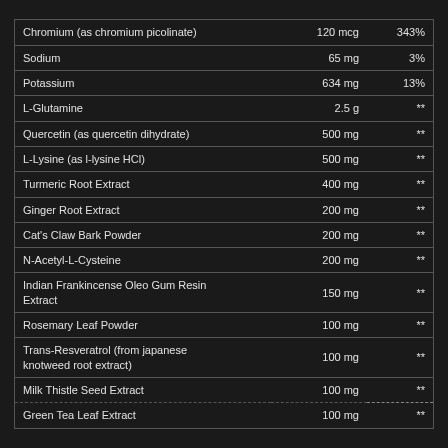| Ingredient | Amount | % DV |
| --- | --- | --- |
| Chromium (as chromium picolinate) | 120 mcg | 343% |
| Sodium | 65 mg | 3% |
| Potassium | 634 mg | 13% |
| L-Glutamine | 2.5 g | ** |
| Quercetin (as quercetin dihydrate) | 500 mg | ** |
| L-Lysine (as l-lysine HCl) | 500 mg | ** |
| Turmeric Root Extract | 400 mg | ** |
| Ginger Root Extract | 200 mg | ** |
| Cat's Claw Bark Powder | 200 mg | ** |
| N-Acetyl-L-Cysteine | 200 mg | ** |
| Indian Frankincense Oleo Gum Resin Extract | 150 mg | ** |
| Rosemary Leaf Powder | 100 mg | ** |
| Trans-Resveratrol (from japanese knotweed root extract) | 100 mg | ** |
| Milk Thistle Seed Extract | 100 mg | ** |
| Green Tea Leaf Extract | 100 mg | ** |